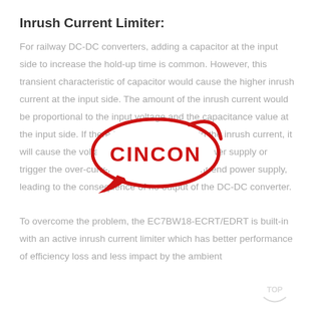Inrush Current Limiter:
For railway DC-DC converters, adding a capacitor at the input side to increase the hold-up time is common. However, this transient characteristic of capacitor would cause the higher inrush current at the input side. The amount of the inrush current would be proportional to the input voltage and the capacitance value at the input side. If there is no action to restrain the inrush current, it will cause the voltage drop of the front-end power supply or trigger the over-current protection of the front-end power supply, leading to the consequence of no output of the DC-DC converter.
[Figure (logo): CINCON company logo — red oval speech bubble shape with CINCON text in red bold letters]
To overcome the problem, the EC7BW18-ECRT/EDRT is built-in with an active inrush current limiter which has better performance of efficiency loss and less impact by the ambient